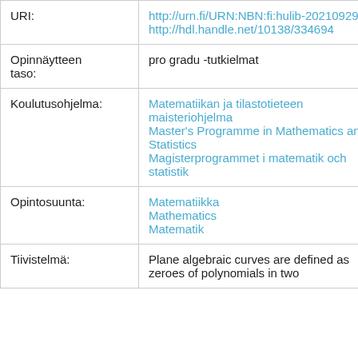| Field | Value |
| --- | --- |
| URI: | http://urn.fi/URN:NBN:fi:hulib-202109293765
http://hdl.handle.net/10138/334694 |
| Opinnäytteen taso: | pro gradu -tutkielmat |
| Koulutusohjelma: | Matematiikan ja tilastotieteen maisteriohjelma
Master's Programme in Mathematics and Statistics
Magisterprogrammet i matematik och statistik |
| Opintosuunta: | Matematiikka
Mathematics
Matematik |
| Tiivistelmä: | Plane algebraic curves are defined as zeroes of polynomials in two |